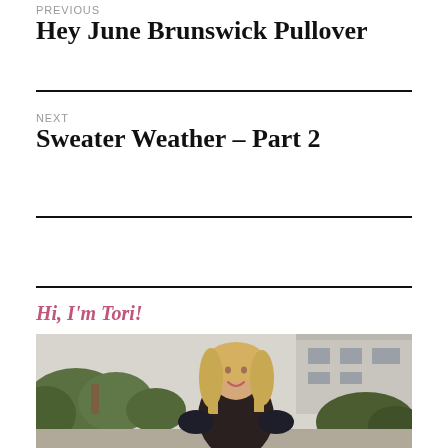PREVIOUS
Hey June Brunswick Pullover
NEXT
Sweater Weather – Part 2
Hi, I'm Tori!
[Figure (photo): Photo of a blonde woman smiling outdoors, with greenery and a building in the background]